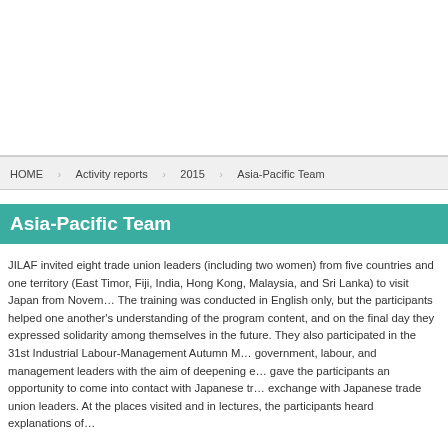HOME  Activity reports  2015  Asia-Pacific Team
Asia-Pacific Team
JILAF invited eight trade union leaders (including two women) from five countries and one territory (East Timor, Fiji, India, Hong Kong, Malaysia, and Sri Lanka) to visit Japan from November. The training was conducted in English only, but the participants helped one another's understanding of the program content, and on the final day they expressed their solidarity among themselves in the future. They also participated in the 31st Industrial Labour-Management Autumn Meeting of government, labour, and management leaders with the aim of deepening exchange, which gave the participants an opportunity to come into contact with Japanese trade union leaders exchange with Japanese trade union leaders. At the places visited and in lectures, the participants heard explanations of...